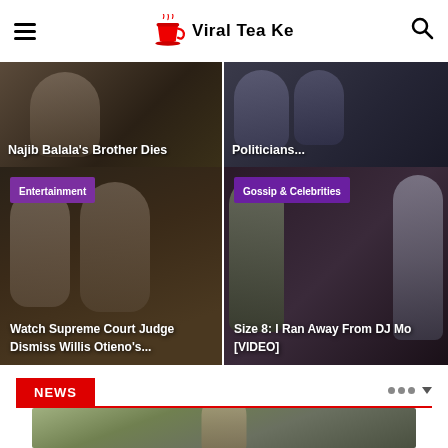Viral Tea Ke
[Figure (photo): News article image: Najib Balala's Brother Dies]
Najib Balala's Brother Dies
[Figure (photo): News article image: Politicians...]
Politicians...
[Figure (photo): Entertainment: Watch Supreme Court Judge Dismiss Willis Otieno's...]
Entertainment
Watch Supreme Court Judge Dismiss Willis Otieno's...
[Figure (photo): Gossip & Celebrities: Size 8: I Ran Away From DJ Mo [VIDEO]]
Gossip & Celebrities
Size 8: I Ran Away From DJ Mo [VIDEO]
NEWS
[Figure (photo): News article bottom photo showing a man outdoors]